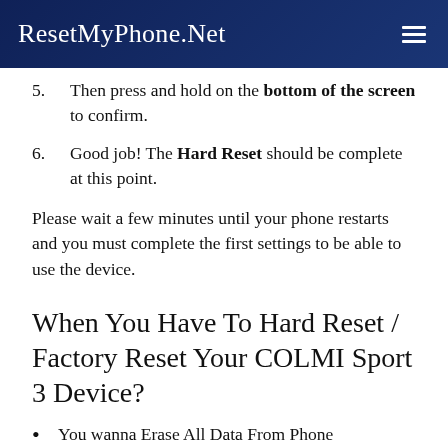ResetMyPhone.Net
5. Then press and hold on the bottom of the screen to confirm.
6. Good job! The Hard Reset should be complete at this point.
Please wait a few minutes until your phone restarts and you must complete the first settings to be able to use the device.
When You Have To Hard Reset / Factory Reset Your COLMI Sport 3 Device?
You wanna Erase All Data From Phone